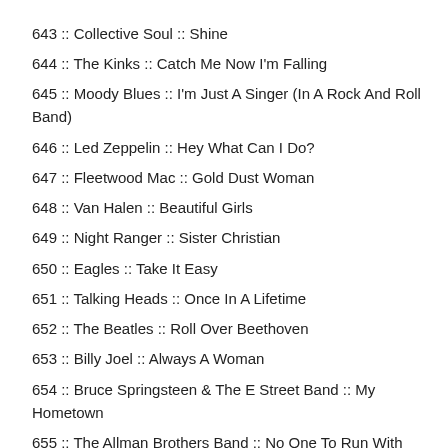643 :: Collective Soul :: Shine
644 :: The Kinks :: Catch Me Now I'm Falling
645 :: Moody Blues :: I'm Just A Singer (In A Rock And Roll Band)
646 :: Led Zeppelin :: Hey What Can I Do?
647 :: Fleetwood Mac :: Gold Dust Woman
648 :: Van Halen :: Beautiful Girls
649 :: Night Ranger :: Sister Christian
650 :: Eagles :: Take It Easy
651 :: Talking Heads :: Once In A Lifetime
652 :: The Beatles :: Roll Over Beethoven
653 :: Billy Joel :: Always A Woman
654 :: Bruce Springsteen &amp; The E Street Band :: My Hometown
655 :: The Allman Brothers Band :: No One To Run With